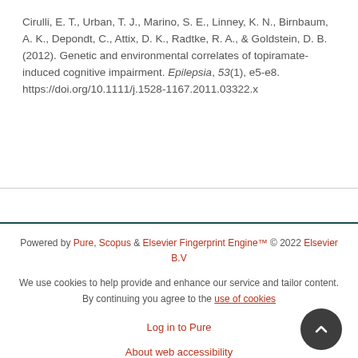Cirulli, E. T., Urban, T. J., Marino, S. E., Linney, K. N., Birnbaum, A. K., Depondt, C., Attix, D. K., Radtke, R. A., & Goldstein, D. B. (2012). Genetic and environmental correlates of topiramate-induced cognitive impairment. Epilepsia, 53(1), e5-e8. https://doi.org/10.1111/j.1528-1167.2011.03322.x
Powered by Pure, Scopus & Elsevier Fingerprint Engine™ © 2022 Elsevier B.V
We use cookies to help provide and enhance our service and tailor content. By continuing you agree to the use of cookies
Log in to Pure
About web accessibility
Contact us